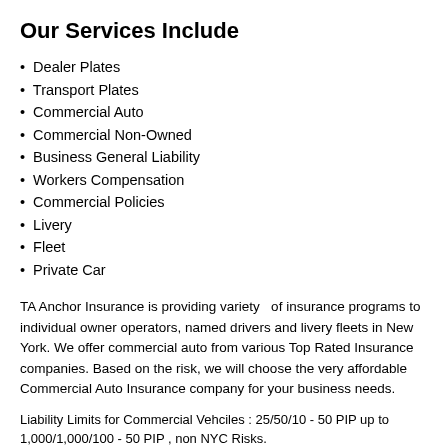Our Services Include
Dealer Plates
Transport Plates
Commercial Auto
Commercial Non-Owned
Business General Liability
Workers Compensation
Commercial Policies
Livery
Fleet
Private Car
TA Anchor Insurance is providing variety  of insurance programs to individual owner operators, named drivers and livery fleets in New York. We offer commercial auto from various Top Rated Insurance companies. Based on the risk, we will choose the very affordable Commercial Auto Insurance company for your business needs.
Liability Limits for Commercial Vehciles : 25/50/10 - 50 PIP up to 1,000/1,000/100 - 50 PIP , non NYC Risks.